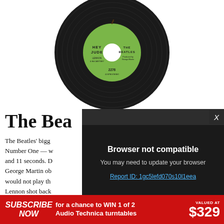[Figure (photo): A black vinyl record with a green Apple Records label showing 'HEY JUDE' on the left and 'THE BEATLES' on the right, with a white hole in the center]
The Bea
The Beatles' bigg Number One — w and 11 seconds. D George Martin ob would not play th Lennon shot back
[Figure (screenshot): Browser not compatible modal dialog on dark background. Text reads: 'Browser not compatible. You may need to update your browser. Report ID: 1gc5lefd070s10l1eea'. With X close button.]
SUBSCRIBE NOW for a chance to WIN 1 of 2 Audio Technica turntables VALUED AT $329